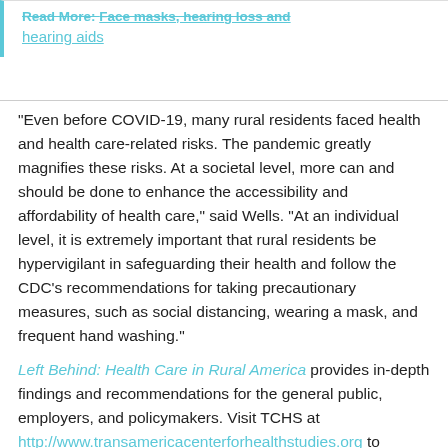Read More: Face masks, hearing loss and hearing aids
“Even before COVID-19, many rural residents faced health and health care-related risks. The pandemic greatly magnifies these risks. At a societal level, more can and should be done to enhance the accessibility and affordability of health care,” said Wells. “At an individual level, it is extremely important that rural residents be hypervigilant in safeguarding their health and follow the CDC’s recommendations for taking precautionary measures, such as social distancing, wearing a mask, and frequent hand washing.”
Left Behind: Health Care in Rural America provides in-depth findings and recommendations for the general public, employers, and policymakers. Visit TCHS at http://www.transamericacenterforhealthstudies.org to download the survey report, as well as other research and